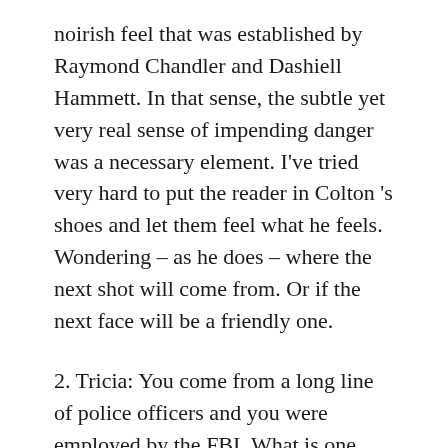noirish feel that was established by Raymond Chandler and Dashiell Hammett. In that sense, the subtle yet very real sense of impending danger was a necessary element. I've tried very hard to put the reader in Colton 's shoes and let them feel what he feels. Wondering – as he does – where the next shot will come from. Or if the next face will be a friendly one.
2. Tricia: You come from a long line of police officers and you were employed by the FBI. What is one mistake writers often make in books concerning law